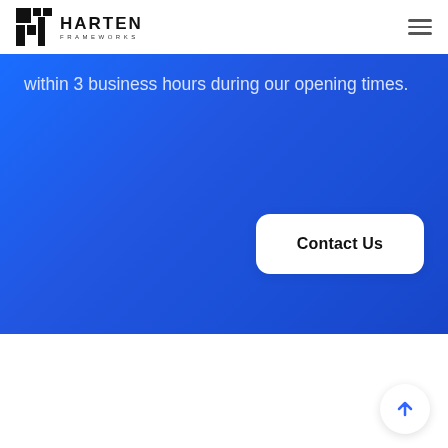HARTEN FRAMEWORKS
within 3 business hours during our opening times.
Contact Us